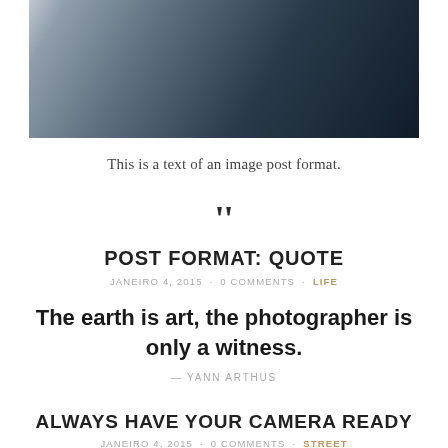[Figure (photo): Cropped top portion of a photo showing a person in a black leather jacket, partially visible, with a blurred street background]
This is a text of an image post format.
[Figure (other): Large quotation mark icon]
POST FORMAT: QUOTE
JANEIRO 4, 2015  0 COMMENTS  LIFE
The earth is art, the photographer is only a witness.
— YANN ARTHUS
ALWAYS HAVE YOUR CAMERA READY
JANEIRO 4, 2015  0 COMMENTS  STREET